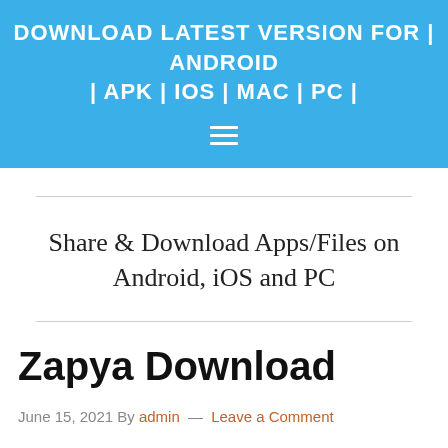DOWNLOAD LATEST VERSION FOR | ANDROID | APK | IOS | MAC | PC |
Share & Download Apps/Files on Android, iOS and PC
Zapya Download
June 15, 2021 By admin — Leave a Comment